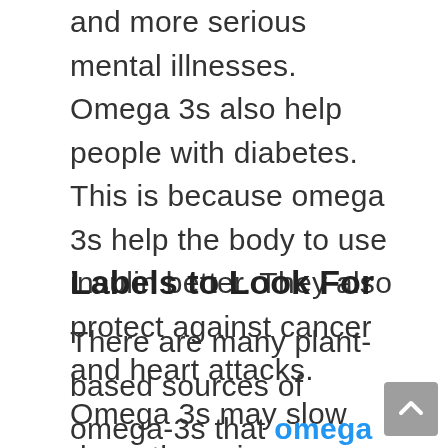and more serious mental illnesses. Omega 3s also help people with diabetes. This is because omega 3s help the body to use insulin better. They also protect against cancer and heart attacks. Omega 3s may slow down the aging process. They can also help people with arthritis or other types of chronic pain.The best way to get omega 3s is from food. Chia seeds are a good source. Along with flaxseeds, walnuts, and salmon. Soy products are another option.
Labels to Look For
There are many plant-based sources of omega-3s that omega 369 capsule can optimize. Some of these include chia seeds, flaxseeds, walnuts, soybeans, almonds, kale, and green leafy veggies. However, it is always best to